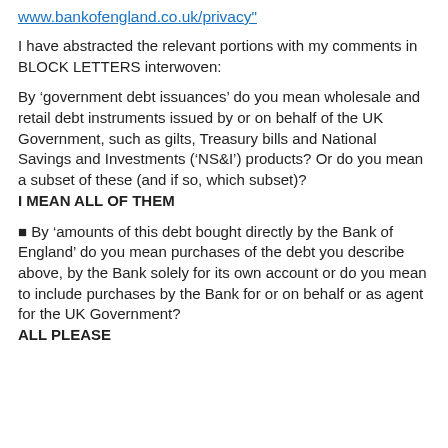www.bankofengland.co.uk/privacy"
I have abstracted the relevant portions with my comments in BLOCK LETTERS interwoven:
By ‘government debt issuances’ do you mean wholesale and retail debt instruments issued by or on behalf of the UK Government, such as gilts, Treasury bills and National Savings and Investments (‘NS&I’) products? Or do you mean a subset of these (and if so, which subset)?
I MEAN ALL OF THEM
■ By ‘amounts of this debt bought directly by the Bank of England’ do you mean purchases of the debt you describe above, by the Bank solely for its own account or do you mean to include purchases by the Bank for or on behalf or as agent for the UK Government?
ALL PLEASE